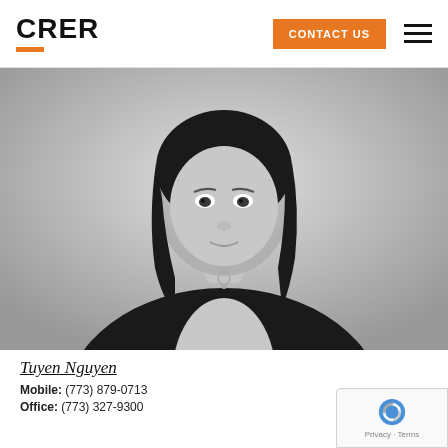CRER | CONTACT US
[Figure (photo): Black and white professional headshot photo of Tuyen Nguyen, a woman with shoulder-length dark hair wearing a black blazer and light blouse with a small pendant necklace, posed against a light gray background.]
Tuyen Nguyen
Mobile: (773) 879-0713
Office: (773) 327-9300